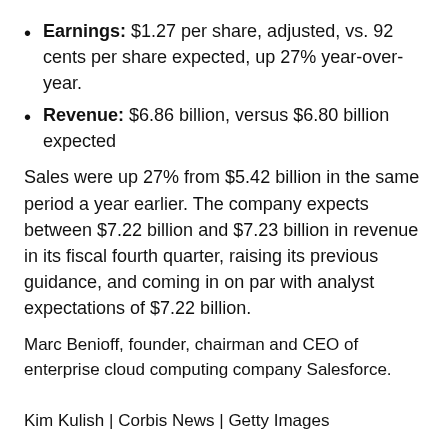Earnings: $1.27 per share, adjusted, vs. 92 cents per share expected, up 27% year-over-year.
Revenue: $6.86 billion, versus $6.80 billion expected
Sales were up 27% from $5.42 billion in the same period a year earlier. The company expects between $7.22 billion and $7.23 billion in revenue in its fiscal fourth quarter, raising its previous guidance, and coming in on par with analyst expectations of $7.22 billion.
Marc Benioff, founder, chairman and CEO of enterprise cloud computing company Salesforce.
Kim Kulish | Corbis News | Getty Images